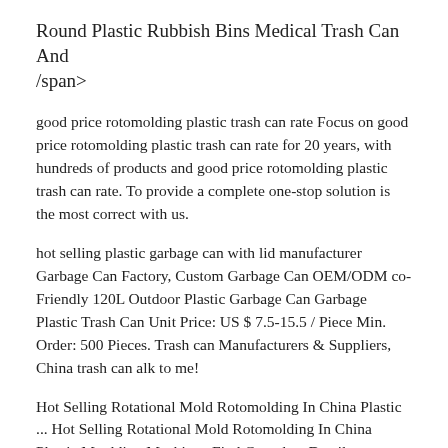Round Plastic Rubbish Bins Medical Trash Can And /span>
good price rotomolding plastic trash can rate Focus on good price rotomolding plastic trash can rate for 20 years, with hundreds of products and good price rotomolding plastic trash can rate. To provide a complete one-stop solution is the most correct with us.
hot selling plastic garbage can with lid manufacturer Garbage Can Factory, Custom Garbage Can OEM/ODM co-Friendly 120L Outdoor Plastic Garbage Can Garbage Plastic Trash Can Unit Price: US $ 7.5-15.5 / Piece Min. Order: 500 Pieces. Trash can Manufacturers & Suppliers, China trash can alk to me!
Hot Selling Rotational Mold Rotomolding In China Plastic ... Hot Selling Rotational Mold Rotomolding In China Plastic Moulding Machine . Find Complete Details